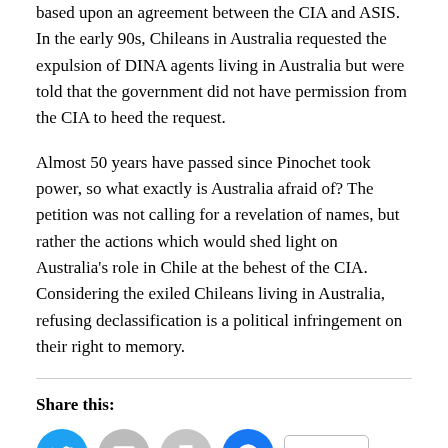based upon an agreement between the CIA and ASIS. In the early 90s, Chileans in Australia requested the expulsion of DINA agents living in Australia but were told that the government did not have permission from the CIA to heed the request.
Almost 50 years have passed since Pinochet took power, so what exactly is Australia afraid of? The petition was not calling for a revelation of names, but rather the actions which would shed light on Australia's role in Chile at the behest of the CIA. Considering the exiled Chileans living in Australia, refusing declassification is a political infringement on their right to memory.
Share this: